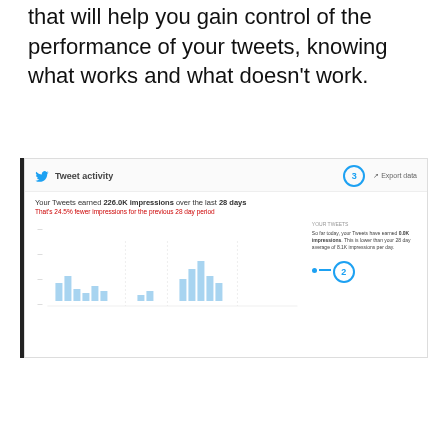that will help you gain control of the performance of your tweets, knowing what works and what doesn't work.
[Figure (screenshot): Screenshot of Twitter Tweet activity dashboard showing 226.0K impressions over the last 28 days, with a bar chart of tweet impressions, circled number 3 annotation in header, circled number 2 annotation pointing to a sidebar metric.]